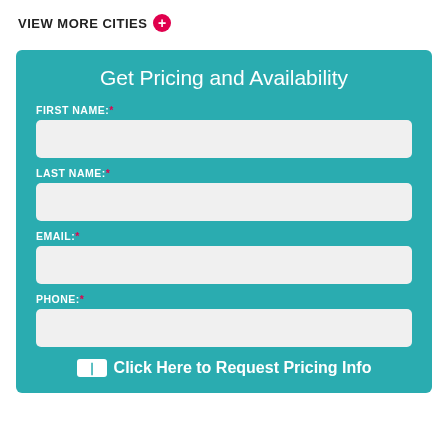VIEW MORE CITIES +
Get Pricing and Availability
FIRST NAME:*
LAST NAME:*
EMAIL:*
PHONE:*
Click Here to Request Pricing Info